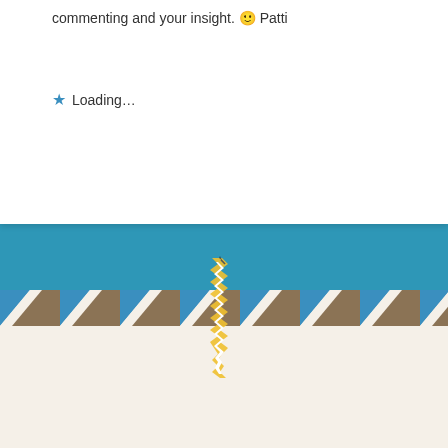commenting and your insight. 🙂 Patti
★ Loading...
[Figure (illustration): A stylized map/pencil icon in white and yellow on a teal background]
Leave a Reply
Enter your comment here...